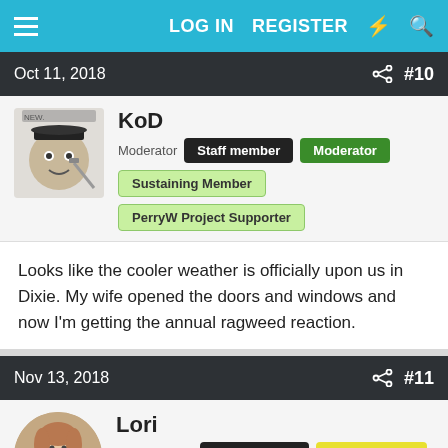LOG IN   REGISTER
Oct 11, 2018   #10
KoD
Moderator   Staff member   Moderator
Sustaining Member   PerryW Project Supporter
Looks like the cooler weather is officially upon us in Dixie. My wife opened the doors and windows and now I'm getting the annual ragweed reaction.
Nov 13, 2018   #11
Lori
Administrator   Staff member   Administrator
Moderator
And just like that, Alabama has Fall for 2.5 days!!